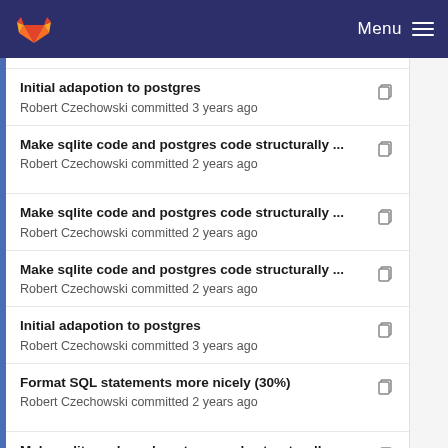GitLab Menu
Initial adapotion to postgres
Robert Czechowski committed 3 years ago
Make sqlite code and postgres code structurally ...
Robert Czechowski committed 2 years ago
Make sqlite code and postgres code structurally ...
Robert Czechowski committed 2 years ago
Make sqlite code and postgres code structurally ...
Robert Czechowski committed 2 years ago
Initial adapotion to postgres
Robert Czechowski committed 3 years ago
Format SQL statements more nicely (30%)
Robert Czechowski committed 2 years ago
Make sqlite code and postgres code structurally ...